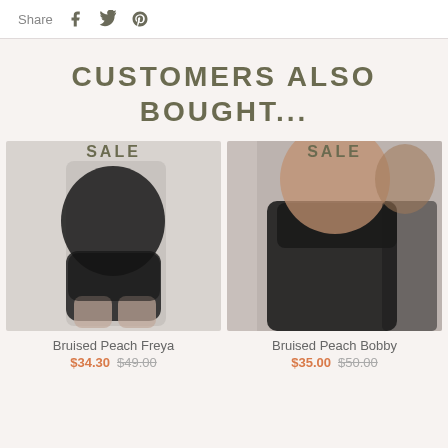Share
CUSTOMERS ALSO BOUGHT...
[Figure (photo): Model wearing black shaping shorts and crop top - Bruised Peach Freya product image with SALE badge]
[Figure (photo): Model wearing black mesh shaping shorts - Bruised Peach Bobby product image with SALE badge]
Bruised Peach Freya
$34.30  $49.00
Bruised Peach Bobby
$35.00  $50.00